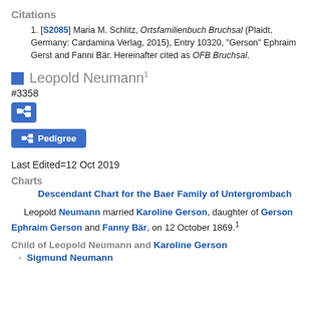Citations
[S2085] Maria M. Schlitz, Ortsfamilienbuch Bruchsal (Plaidt, Germany: Cardamina Verlag, 2015), Entry 10320, "Gerson" Ephraim Gerst and Fanni Bär. Hereinafter cited as OFB Bruchsal.
Leopold Neumann¹
#3358
Last Edited=12 Oct 2019
Charts
Descendant Chart for the Baer Family of Untergrombach
Leopold Neumann married Karoline Gerson, daughter of Gerson Ephraim Gerson and Fanny Bär, on 12 October 1869.¹
Child of Leopold Neumann and Karoline Gerson
Sigmund Neumann